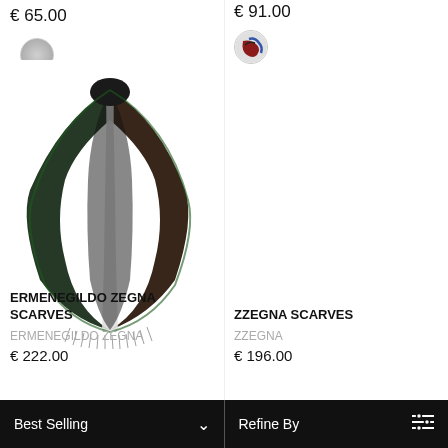€ 65.00
[Figure (photo): Silver-gray circular color swatch]
€ 91.00
[Figure (photo): Circular color swatch showing multicolor/dark red and blue scarf pattern]
[Figure (photo): Ermenegildo Zegna dark green/black triangle scarf draped and folded, shown on white background]
ERMENEGILDO ZEGNA SCARVES
ERMENEGILDO ZEGNA
€ 222.00
ZZEGNA SCARVES
ZZEGNA
€ 196.00
Best Selling  ∨    Refine By  ≡